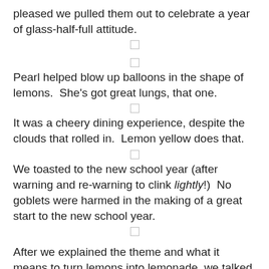pleased we pulled them out to celebrate a year of glass-half-full attitude.
Pearl helped blow up balloons in the shape of lemons.  She's got great lungs, that one.
It was a cheery dining experience, despite the clouds that rolled in.  Lemon yellow does that.
We toasted to the new school year (after warning and re-warning to clink lightly!)  No goblets were harmed in the making of a great start to the new school year.
After we explained the theme and what it means to turn lemons into lemonade, we talked about how Divine's disappointment in the teacher she got could